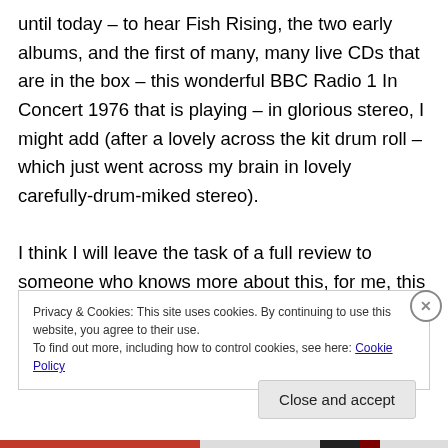until today – to hear Fish Rising, the two early albums, and the first of many, many live CDs that are in the box – this wonderful BBC Radio 1 In Concert 1976 that is playing – in glorious stereo, I might add (after a lovely across the kit drum roll – which just went across my brain in lovely carefully-drum-miked stereo).
I think I will leave the task of a full review to someone who knows more about this, for me, this was just a "way in", a way to hear the development of this incredibly talented guitarist – who I was really, really fortunate to see both the
Privacy & Cookies: This site uses cookies. By continuing to use this website, you agree to their use.
To find out more, including how to control cookies, see here: Cookie Policy
Close and accept